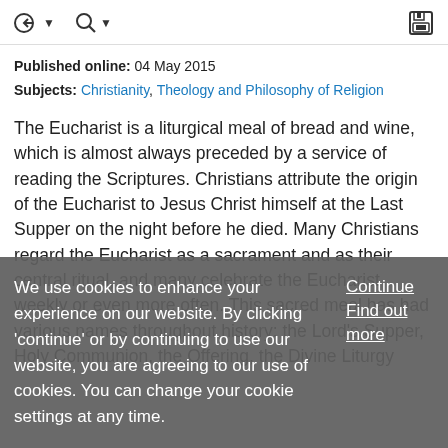Navigation toolbar with back/search icons and save icon
Published online: 04 May 2015
Subjects: Christianity, Theology and Philosophy of Religion
The Eucharist is a liturgical meal of bread and wine, which is almost always preceded by a service of reading the Scriptures. Christians attribute the origin of the Eucharist to Jesus Christ himself at the Last Supper on the night before he died. Many Christians regard the Eucharist as a sacrament and as their central ritual, and many celebrate the Eucharist weekly or even more often. This sacred meal has had various names throughout history: the Lord's Supper, Holy Communion, the Offering, the Divine Liturgy
We use cookies to enhance your experience on our website. By clicking 'continue' or by continuing to use our website, you are agreeing to our use of cookies. You can change your cookie settings at any time.